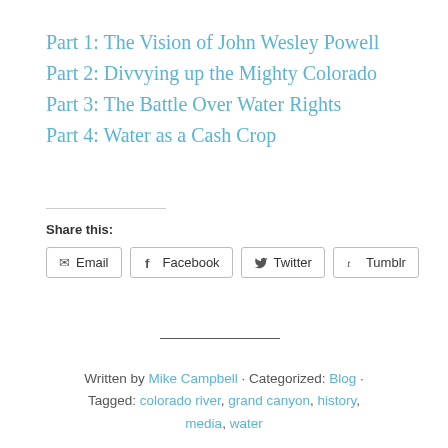Part 1: The Vision of John Wesley Powell
Part 2: Divvying up the Mighty Colorado
Part 3: The Battle Over Water Rights
Part 4: Water as a Cash Crop
Share this:
Email  Facebook  Twitter  Tumblr
Written by Mike Campbell · Categorized: Blog · Tagged: colorado river, grand canyon, history, media, water